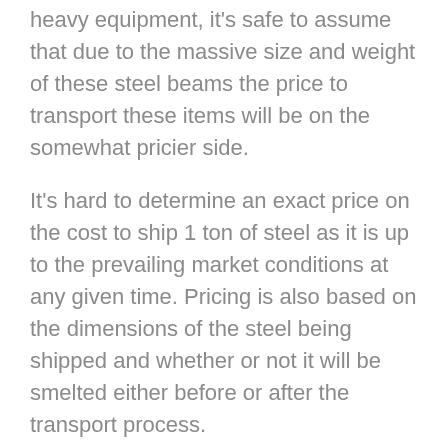heavy equipment, it's safe to assume that due to the massive size and weight of these steel beams the price to transport these items will be on the somewhat pricier side.
It's hard to determine an exact price on the cost to ship 1 ton of steel as it is up to the prevailing market conditions at any given time. Pricing is also based on the dimensions of the steel being shipped and whether or not it will be smelted either before or after the transport process.
It can involve a great deal of time and resources to transport freight of this magnitude which can be yet another factor in the pricing a transport company may quote you. Heavy